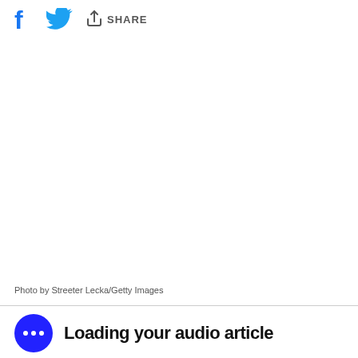[Figure (infographic): Social share bar with Facebook icon, Twitter bird icon, and a share icon with text SHARE]
[Figure (photo): Large white/blank image area (photo placeholder)]
Photo by Streeter Lecka/Getty Images
Loading your audio article